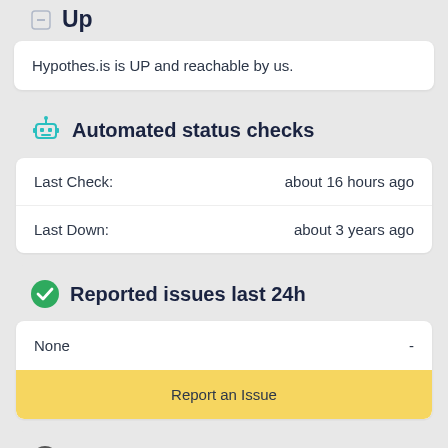Up
Hypothes.is is UP and reachable by us.
Automated status checks
|  |  |
| --- | --- |
| Last Check: | about 16 hours ago |
| Last Down: | about 3 years ago |
Reported issues last 24h
None  -
Report an Issue
Last 30 days status: 100.0% up